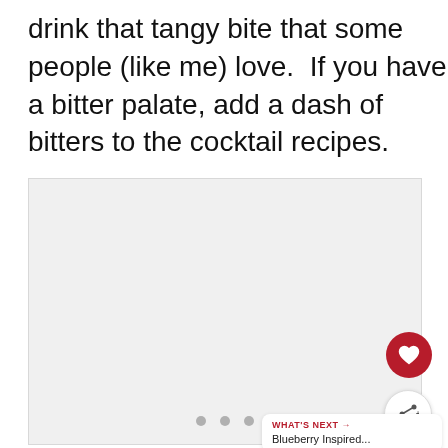drink that tangy bite that some people (like me) love.  If you have a bitter palate, add a dash of bitters to the cocktail recipes.
[Figure (photo): A photo placeholder with a light gray background and three small gray dots at the bottom center indicating a carousel or slideshow. Two UI overlay buttons (heart/favorite and share) appear on the right side.]